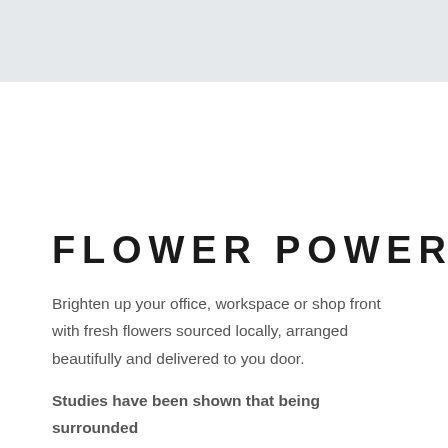[Figure (photo): Light grey rectangular header image placeholder area at the top of the page]
FLOWER POWER
Brighten up your office, workspace or shop front with fresh flowers sourced locally, arranged beautifully and delivered to you door.
Studies have shown that being surrounded